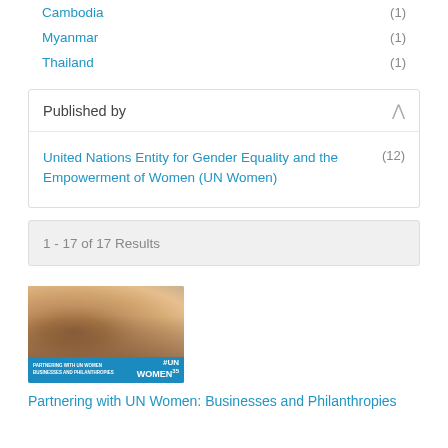Cambodia (1)
Myanmar (1)
Thailand (1)
Published by
United Nations Entity for Gender Equality and the Empowerment of Women (UN Women) (12)
1 - 17 of 17 Results
[Figure (photo): Group photo of women with UN Women branding banner at bottom. Text reads 'Partnering with UN Women Businesses and Philanthropies' with UN Women 35 logo.]
Partnering with UN Women: Businesses and Philanthropies